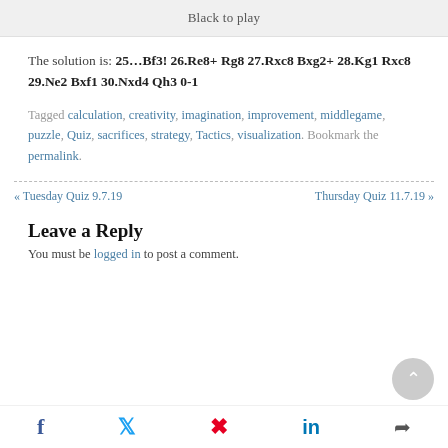Black to play
The solution is: 25…Bf3! 26.Re8+ Rg8 27.Rxc8 Bxg2+ 28.Kg1 Rxc8 29.Ne2 Bxf1 30.Nxd4 Qh3 0-1
Tagged calculation, creativity, imagination, improvement, middlegame, puzzle, Quiz, sacrifices, strategy, Tactics, visualization. Bookmark the permalink.
« Tuesday Quiz 9.7.19   Thursday Quiz 11.7.19 »
Leave a Reply
You must be logged in to post a comment.